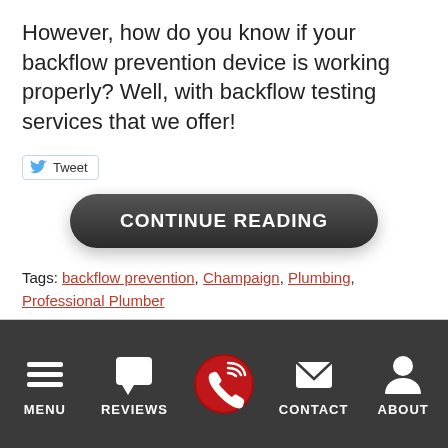However, how do you know if your backflow prevention device is working properly? Well, with backflow testing services that we offer!
[Figure (other): Tweet button with Twitter bird icon]
[Figure (other): CONTINUE READING dark rounded button]
Tags: backflow prevention, Champaign, Plumbing, Professional Plumber
Posted in Plumbing | Comments Off on Is Your Backflow Preventer Working?
MENU | REVIEWS | (call button) | CONTACT | ABOUT